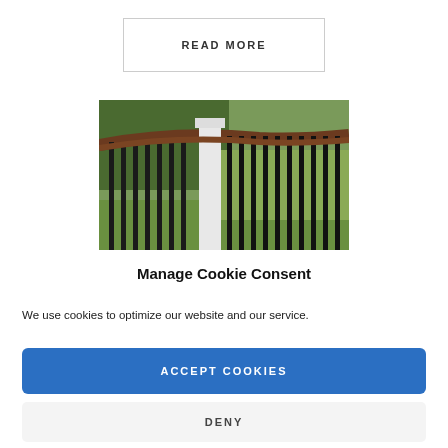READ MORE
[Figure (photo): Close-up photo of a deck railing with black metal balusters, white post, and brown curved top rail, with green trees and grass in background.]
Manage Cookie Consent
We use cookies to optimize our website and our service.
ACCEPT COOKIES
DENY